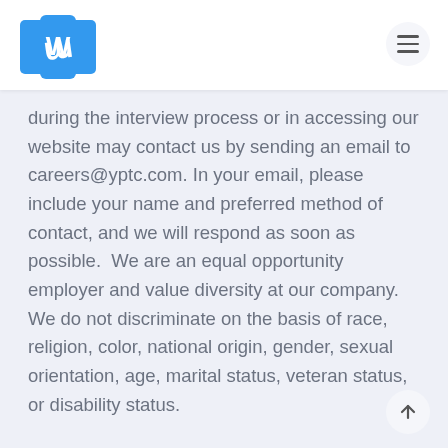YPTC logo and navigation menu
during the interview process or in accessing our website may contact us by sending an email to careers@yptc.com. In your email, please include your name and preferred method of contact, and we will respond as soon as possible.  We are an equal opportunity employer and value diversity at our company. We do not discriminate on the basis of race, religion, color, national origin, gender, sexual orientation, age, marital status, veteran status, or disability status.
Apply now or visit our website, www.yptc.com, to learn more about Your Part-Time Controller. Questions? Contact careers@yptc.com.